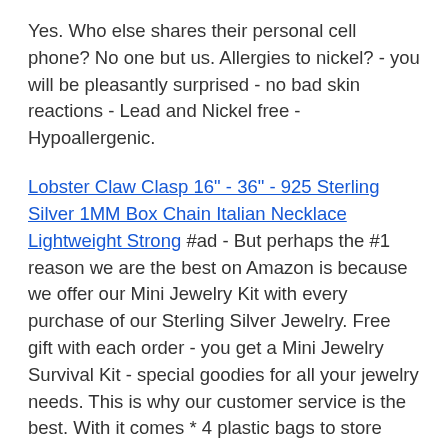Yes. Who else shares their personal cell phone? No one but us. Allergies to nickel? - you will be pleasantly surprised - no bad skin reactions - Lead and Nickel free - Hypoallergenic.
Lobster Claw Clasp 16" - 36" - 925 Sterling Silver 1MM Box Chain Italian Necklace Lightweight Strong #ad - But perhaps the #1 reason we are the best on Amazon is because we offer our Mini Jewelry Kit with every purchase of our Sterling Silver Jewelry. Free gift with each order - you get a Mini Jewelry Survival Kit - special goodies for all your jewelry needs. This is why our customer service is the best. With it comes * 4 plastic bags to store your silver jewelry* 4 rubber earring nuts to keep your earring securely on your ear* Tips on the care of silver jewelry* Tips on the